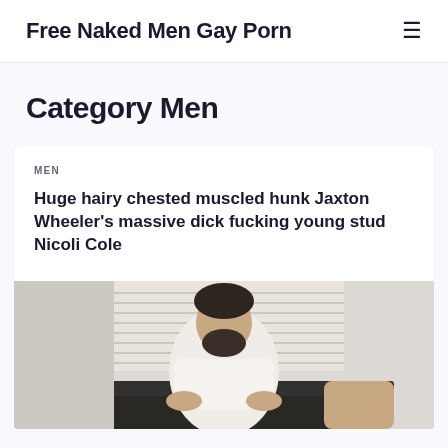Free Naked Men Gay Porn
Category Men
MEN
Huge hairy chested muscled hunk Jaxton Wheeler's massive dick fucking young stud Nicoli Cole
[Figure (photo): A man with dark hair and beard visible from the torso, sitting on a dark sofa in a room with white window blinds in the background]